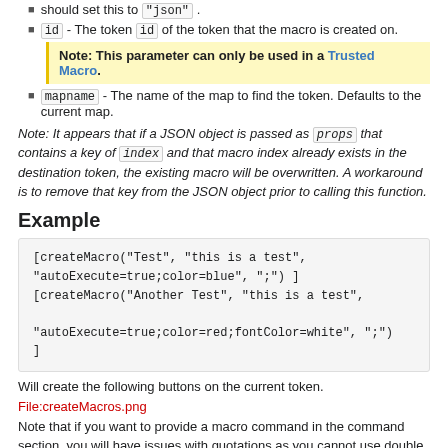should set this to "json".
id - The token id of the token that the macro is created on.
Note: This parameter can only be used in a Trusted Macro.
mapname - The name of the map to find the token. Defaults to the current map.
Note: It appears that if a JSON object is passed as props that contains a key of index and that macro index already exists in the destination token, the existing macro will be overwritten. A workaround is to remove that key from the JSON object prior to calling this function.
Example
[createMacro("Test", "this is a test", "autoExecute=true;color=blue", ";") ]
[createMacro("Another Test", "this is a test",
"autoExecute=true;color=red;fontColor=white", ";")
]
Will create the following buttons on the current token.
File:createMacros.png
Note that if you want to provide a macro command in the command section, you will have issues with quotations as you cannot use double